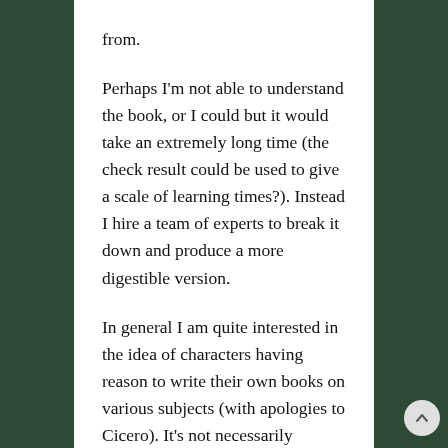from.
Perhaps I'm not able to understand the book, or I could but it would take an extremely long time (the check result could be used to give a scale of learning times?). Instead I hire a team of experts to break it down and produce a more digestible version.
In general I am quite interested in the idea of characters having reason to write their own books on various subjects (with apologies to Cicero). It's not necessarily limited to the wizard; the fighter can produce Weapons and Tactics of the Ildrassil River Civilisation, the